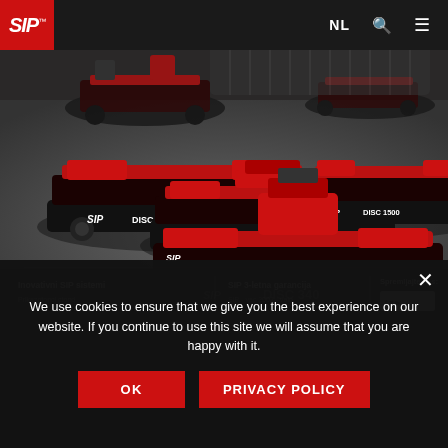[Figure (screenshot): SIP website navigation bar with red SIP logo on left, NL language selector, search icon, and hamburger menu icon on right, against dark background]
[Figure (photo): SIP agricultural disc mower machines (DISC 1500 and DISC 340) in red and black colors displayed on a grey floor, multiple units shown from above at an angle]
Inovativni SIP sistemi
SIP 3-letna garancija
Spremljajte nas:
We use cookies to ensure that we give you the best experience on our website. If you continue to use this site we will assume that you are happy with it.
OK
PRIVACY POLICY